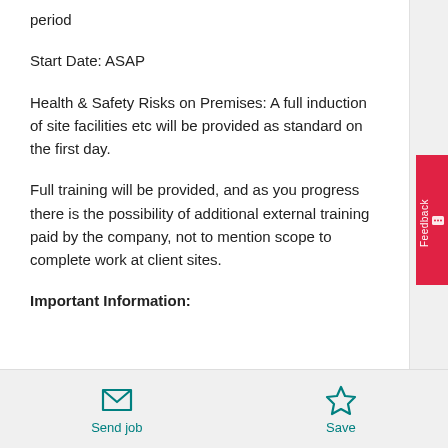period
Start Date: ASAP
Health & Safety Risks on Premises: A full induction of site facilities etc will be provided as standard on the first day.
Full training will be provided, and as you progress there is the possibility of additional external training paid by the company, not to mention scope to complete work at client sites.
Important Information:
[Figure (other): Feedback tab on right side, red background with white text]
Send job   Save